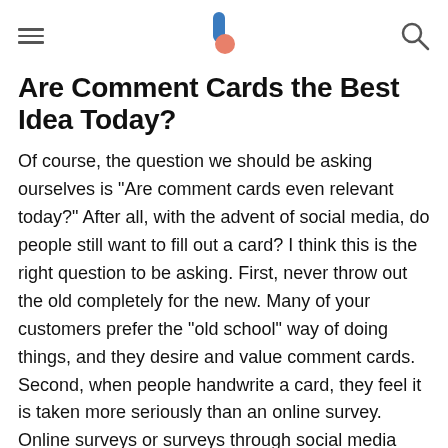[hamburger menu] [logo] [search icon]
Are Comment Cards the Best Idea Today?
Of course, the question we should be asking ourselves is "Are comment cards even relevant today?" After all, with the advent of social media, do people still want to fill out a card? I think this is the right question to be asking. First, never throw out the old completely for the new. Many of your customers prefer the "old school" way of doing things, and they desire and value comment cards. Second, when people handwrite a card, they feel it is taken more seriously than an online survey. Online surveys or surveys through social media may be more expedient, but people still don't trust the digital world. They prefer cards.